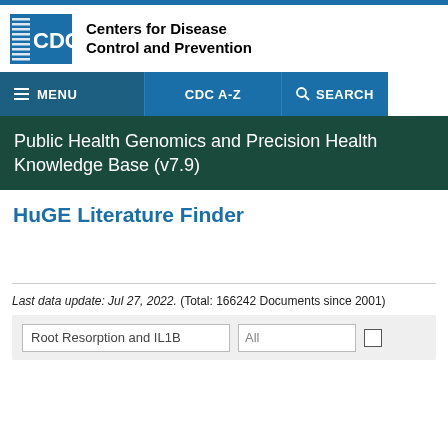[Figure (logo): CDC logo with blue square containing white CDC letters and horizontal lines pattern, next to organization name text]
Centers for Disease Control and Prevention
MENU | CDC A-Z | SEARCH navigation bar
Public Health Genomics and Precision Health Knowledge Base (v7.9)
HuGE Literature Finder
Last data update: Jul 27, 2022. (Total: 166242 Documents since 2001)
Root Resorption and IL1B